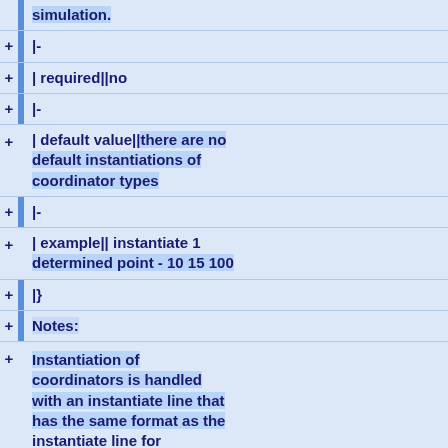simulation.
|-
| required||no
|-
| default value||there are no default instantiations of coordinator types
|-
| example|| instantiate 1 determined point - 10 15 100
|}
Notes:
Instantiation of coordinators is handled with an instantiate line that has the same format as the instantiate line for